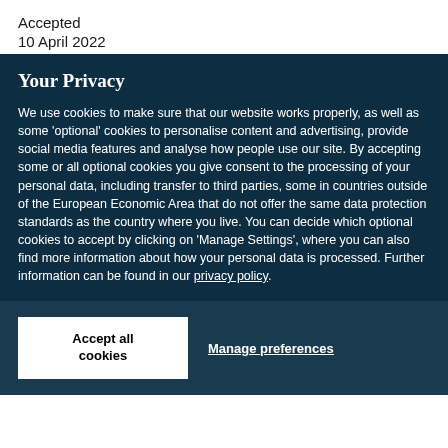Accepted
10 April 2022
Your Privacy
We use cookies to make sure that our website works properly, as well as some 'optional' cookies to personalise content and advertising, provide social media features and analyse how people use our site. By accepting some or all optional cookies you give consent to the processing of your personal data, including transfer to third parties, some in countries outside of the European Economic Area that do not offer the same data protection standards as the country where you live. You can decide which optional cookies to accept by clicking on 'Manage Settings', where you can also find more information about how your personal data is processed. Further information can be found in our privacy policy.
Accept all cookies
Manage preferences